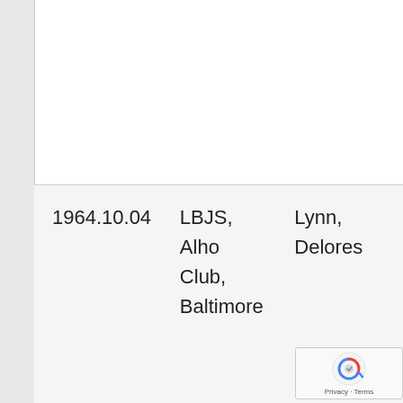| Date | Location | Name |
| --- | --- | --- |
| 1964.10.04 | LBJS, Alho Club, Baltimore | Lynn, Delores |